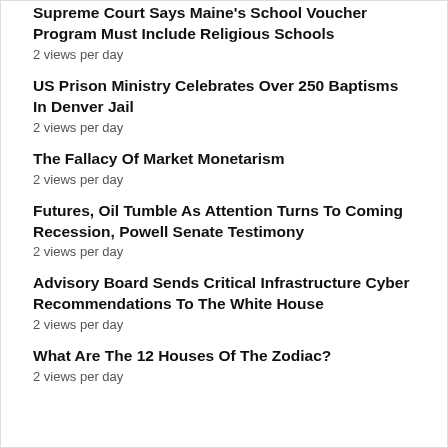Supreme Court Says Maine's School Voucher Program Must Include Religious Schools
2 views per day
US Prison Ministry Celebrates Over 250 Baptisms In Denver Jail
2 views per day
The Fallacy Of Market Monetarism
2 views per day
Futures, Oil Tumble As Attention Turns To Coming Recession, Powell Senate Testimony
2 views per day
Advisory Board Sends Critical Infrastructure Cyber Recommendations To The White House
2 views per day
What Are The 12 Houses Of The Zodiac?
2 views per day